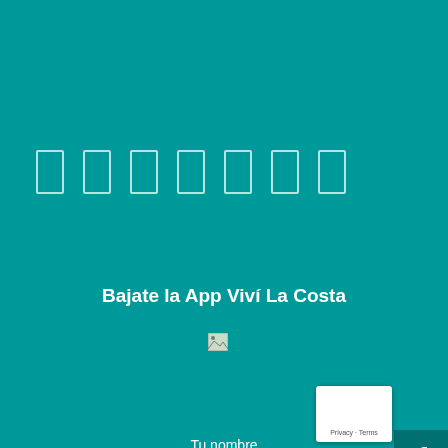[Figure (infographic): Navigation icon boxes - 7 white-outlined rectangles on teal background]
Bajate la App Viví La Costa
[Figure (illustration): Two app store badge images (broken/loading) side by side]
Tu nombre
Tu correo electrónico
Asunto
[Figure (infographic): Social media sidebar with Facebook, Twitter, Instagram, WhatsApp icons on right edge]
[Figure (other): reCAPTCHA widget - Privacy Terms]